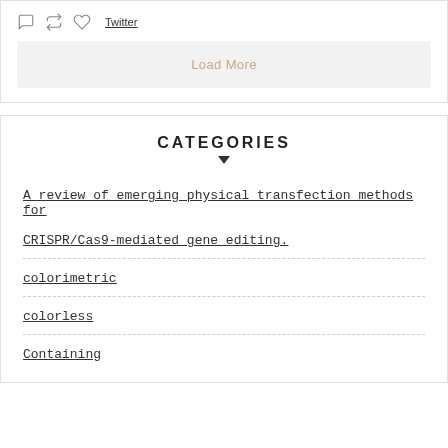[Figure (screenshot): Twitter action icons (comment, retweet, like) and Twitter link with Load More button below]
CATEGORIES
A review of emerging physical transfection methods for CRISPR/Cas9-mediated gene editing.
colorimetric
colorless
Containing